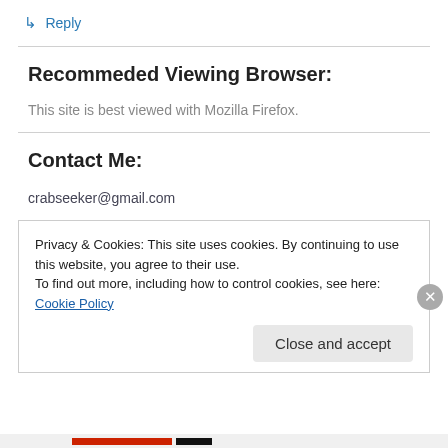↳ Reply
Recommeded Viewing Browser:
This site is best viewed with Mozilla Firefox.
Contact Me:
crabseeker@gmail.com
Privacy & Cookies: This site uses cookies. By continuing to use this website, you agree to their use.
To find out more, including how to control cookies, see here: Cookie Policy
Close and accept